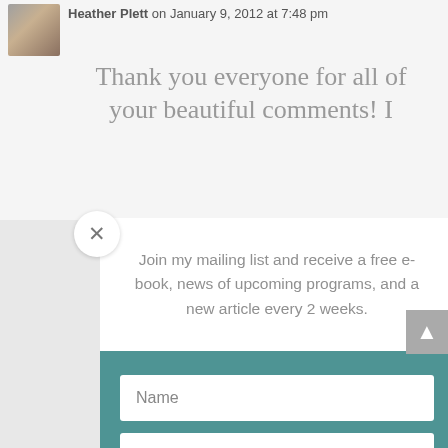Heather Plett on January 9, 2012 at 7:48 pm
Thank you everyone for all of your beautiful comments! I
Join my mailing list and receive a free e-book, news of upcoming programs, and a new article every 2 weeks.
Name
Email
Subscribe